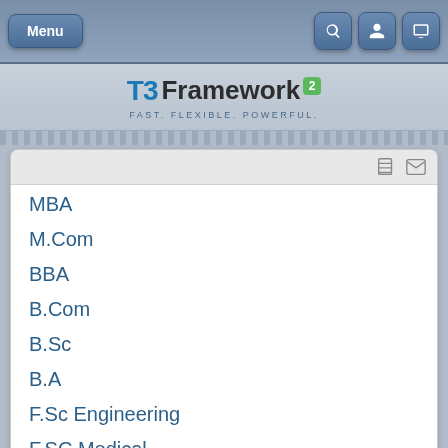Menu | Search | Profile | Display
[Figure (logo): T3 Framework 2 logo with tagline FAST. FLEXIBLE. POWERFUL.]
MBA
M.Com
BBA
B.Com
B.Sc
B.A
F.Sc Engineering
F.SC Medical
ICS
I.COM
F.A
MBA